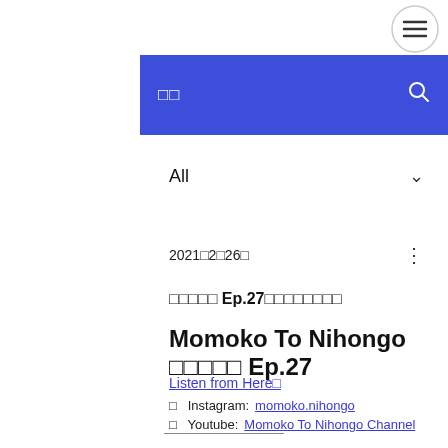[Figure (screenshot): Hamburger menu icon (three horizontal lines) in a circle, top right]
□□  [search icon]
All ∨
2021□2□26□
□□□□□ Ep.27□□□□□□□□
Momoko To Nihongo □□□□□ Ep.27
Listen from Here□
□  Instagram: momoko.nihongo
□  Youtube: Momoko To Nihongo Channel